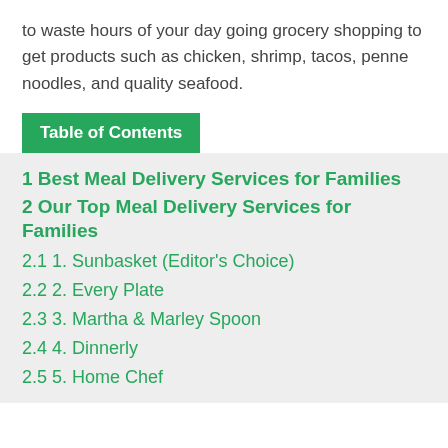to waste hours of your day going grocery shopping to get products such as chicken, shrimp, tacos, penne noodles, and quality seafood.
Table of Contents
1 Best Meal Delivery Services for Families
2 Our Top Meal Delivery Services for Families
2.1 1. Sunbasket (Editor's Choice)
2.2 2. Every Plate
2.3 3. Martha & Marley Spoon
2.4 4. Dinnerly
2.5 5. Home Chef